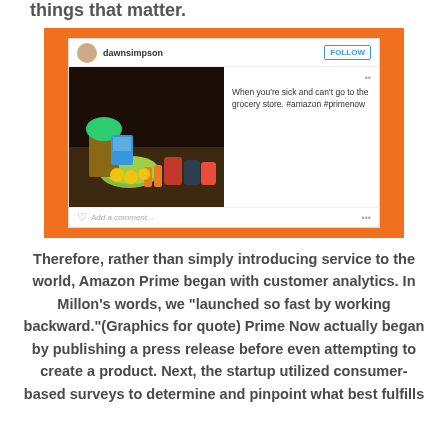things that matter.
[Figure (screenshot): Instagram post screenshot showing a photo of groceries on a counter with the caption 'When you're sick and can't go to the grocery store. #amazon #primenow', displayed on an orange background.]
Therefore, rather than simply introducing service to the world, Amazon Prime began with customer analytics. In Millon’s words, we “launched so fast by working backward.”(Graphics for quote) Prime Now actually began by publishing a press release before even attempting to create a product. Next, the startup utilized consumer-based surveys to determine and pinpoint what best fulfills